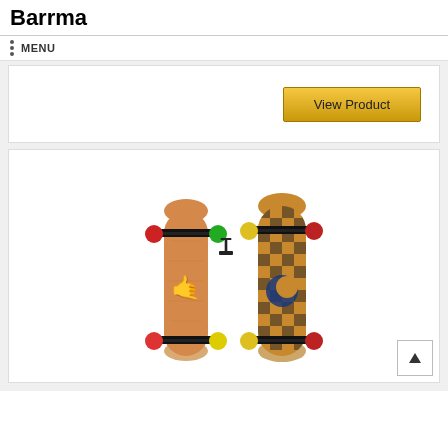Barrma
MENU
[Figure (screenshot): View Product button in a card with golden/yellow gradient background]
[Figure (photo): Two wooden skateboards side by side. Left board has a colorful shaka hand graphic with red, yellow, blue wheels and black trucks. Right board has a checkered pattern with a moon/wave logo, yellow and red wheels.]